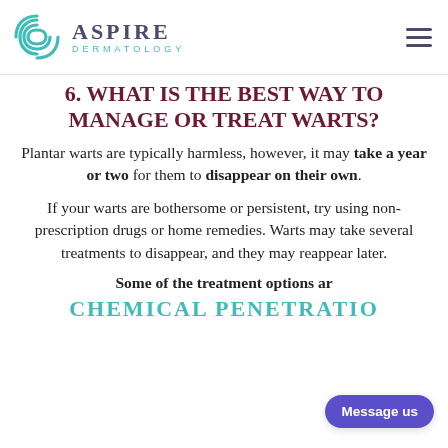Aspire Dermatology
6. What is the best way to manage or treat warts?
Plantar warts are typically harmless, however, it may take a year or two for them to disappear on their own.
If your warts are bothersome or persistent, try using non-prescription drugs or home remedies. Warts may take several treatments to disappear, and they may reappear later.
Some of the treatment options ar...
CHEMICAL PENETRATIO...